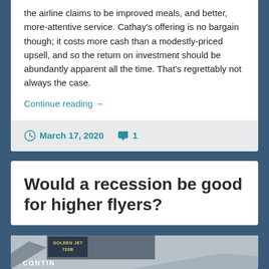the airline claims to be improved meals, and better, more-attentive service.  Cathay's offering is no bargain though; it costs more cash than a modestly-priced upsell, and so the return on investment should be abundantly apparent all the time.  That's regrettably not always the case.
Continue reading →
March 17, 2020  · 1
Would a recession be good for higher flyers?
[Figure (photo): Partial photo of an airplane with a sign reading 'GOLDEN JET 720B' and text 'CONTIN...' visible at the bottom]